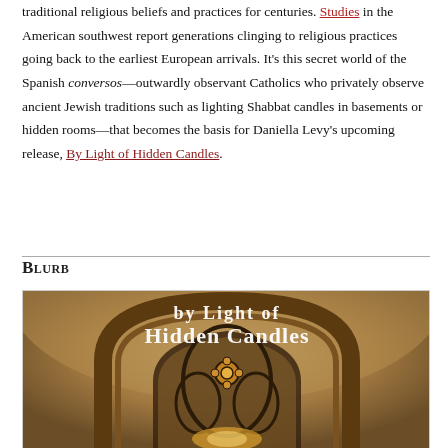traditional religious beliefs and practices for centuries. Studies in the American southwest report generations clinging to religious practices going back to the earliest European arrivals. It's this secret world of the Spanish conversos—outwardly observant Catholics who privately observe ancient Jewish traditions such as lighting Shabbat candles in basements or hidden rooms—that becomes the basis for Daniella Levy's upcoming release, By Light of Hidden Candles.
Blurb
[Figure (illustration): Book cover of 'By Light of Hidden Candles' by Daniella Levy, showing gothic stone archway with ornate tracery window, warm amber/golden stone tones, white serif title text overlay]